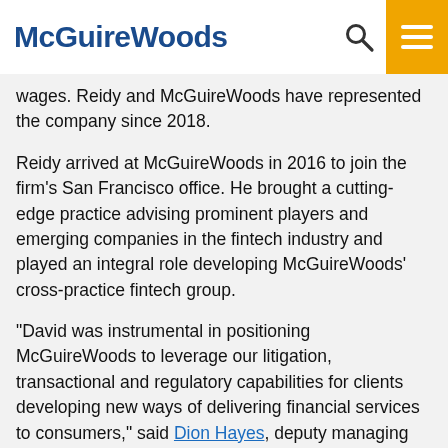McGuireWoods
wages. Reidy and McGuireWoods have represented the company since 2018.
Reidy arrived at McGuireWoods in 2016 to join the firm’s San Francisco office. He brought a cutting-edge practice advising prominent players and emerging companies in the fintech industry and played an integral role developing McGuireWoods’ cross-practice fintech group.
“David was instrumental in positioning McGuireWoods to leverage our litigation, transactional and regulatory capabilities for clients developing new ways of delivering financial services to consumers,” said Dion Hayes, deputy managing partner of the firm’s